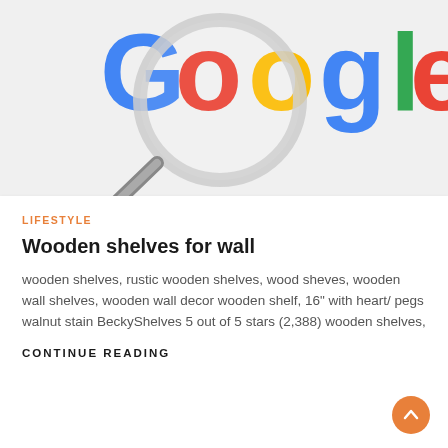[Figure (illustration): Google logo with a magnifying glass overlaid on top of it, on a light grey background]
LIFESTYLE
Wooden shelves for wall
wooden shelves, rustic wooden shelves, wood sheves, wooden wall shelves, wooden wall decor wooden shelf, 16" with heart/ pegs walnut stain BeckyShelves 5 out of 5 stars (2,388) wooden shelves,
CONTINUE READING